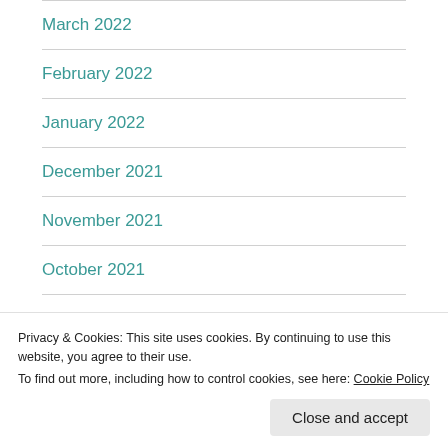March 2022
February 2022
January 2022
December 2021
November 2021
October 2021
September 2021
Privacy & Cookies: This site uses cookies. By continuing to use this website, you agree to their use.
To find out more, including how to control cookies, see here: Cookie Policy
June 2021